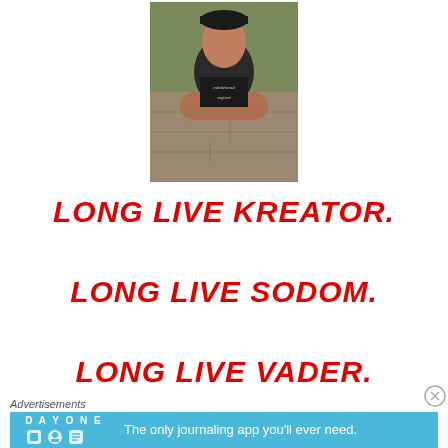[Figure (photo): A muscular man with arms crossed wearing a black Motörhead England t-shirt and a cap, standing outdoors.]
LONG LIVE KREATOR.
LONG LIVE SODOM.
LONG LIVE VADER.
Advertisements
[Figure (screenshot): Advertisement banner for Day One journaling app with text: The only journaling app you'll ever need.]